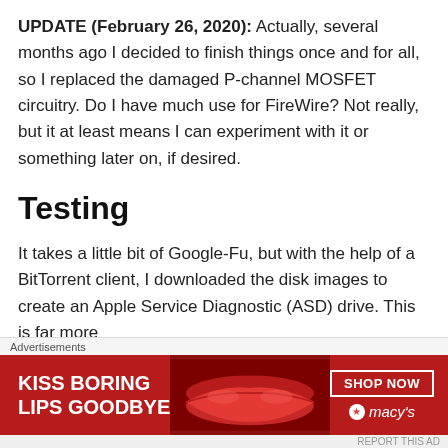UPDATE (February 26, 2020): Actually, several months ago I decided to finish things once and for all, so I replaced the damaged P-channel MOSFET circuitry. Do I have much use for FireWire? Not really, but it at least means I can experiment with it or something later on, if desired.
Testing
It takes a little bit of Google-Fu, but with the help of a BitTorrent client, I downloaded the disk images to create an Apple Service Diagnostic (ASD) drive. This is far more sophisticated than the built-in diagnostic when you boot…
[Figure (other): Advertisement banner for Macy's: 'KISS BORING LIPS GOODBYE' with SHOP NOW button and Macy's logo on red background]